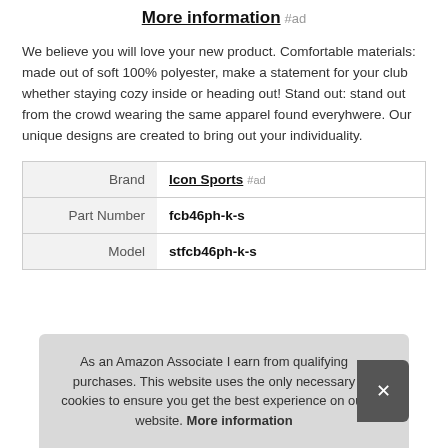More information #ad
We believe you will love your new product. Comfortable materials: made out of soft 100% polyester, make a statement for your club whether staying cozy inside or heading out! Stand out: stand out from the crowd wearing the same apparel found everyhwere. Our unique designs are created to bring out your individuality.
| Brand | Icon Sports #ad |
| Part Number | fcb46ph-k-s |
| Model | stfcb46ph-k-s |
As an Amazon Associate I earn from qualifying purchases. This website uses the only necessary cookies to ensure you get the best experience on our website. More information